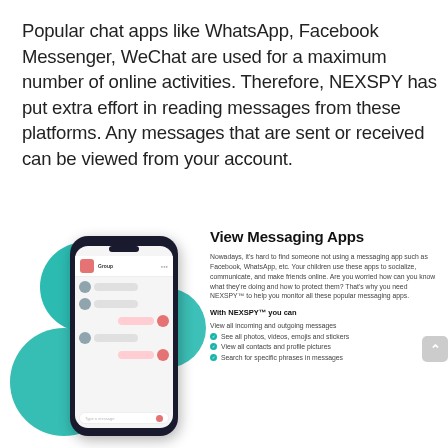Popular chat apps like WhatsApp, Facebook Messenger, WeChat are used for a maximum number of online activities. Therefore, NEXSPY has put extra effort in reading messages from these platforms. Any messages that are sent or received can be viewed from your account.
[Figure (illustration): Smartphone mockup showing a chat messaging interface with teal decorative circles in the background]
View Messaging Apps
Nowadays, it's hard to find someone not using a messaging app such as Facebook, WhatsApp, etc. Your children use these apps to socialize, communicate, and make friends online. Are you worried how can you know what they're doing and how to protect them? That's why you need NEXSPY™ to help you monitor all these popular messaging apps.
With NEXSPY™ you can
View all incoming and outgoing messages
See all photos, videos, emojis and stickers
View all contacts and profile pictures
Search for specific phrases in messages